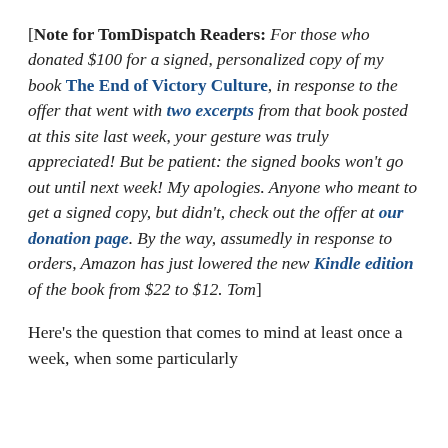[Note for TomDispatch Readers: For those who donated $100 for a signed, personalized copy of my book The End of Victory Culture, in response to the offer that went with two excerpts from that book posted at this site last week, your gesture was truly appreciated! But be patient: the signed books won't go out until next week! My apologies. Anyone who meant to get a signed copy, but didn't, check out the offer at our donation page. By the way, assumedly in response to orders, Amazon has just lowered the new Kindle edition of the book from $22 to $12. Tom]
Here's the question that comes to mind at least once a week, when some particularly